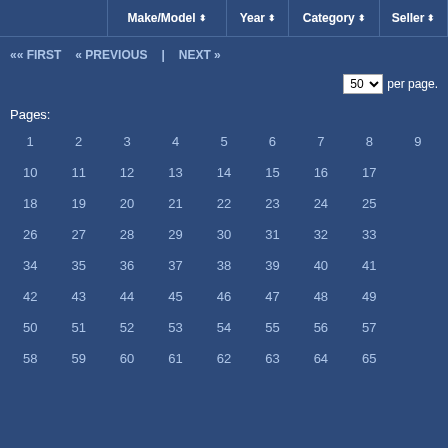Make/Model | Year | Category | Seller
« FIRST   « PREVIOUS   NEXT »   50 per page.
Pages:
1 2 3 4 5 6 7 8 9 10 11 12 13 14 15 16 17 18 19 20 21 22 23 24 25 26 27 28 29 30 31 32 33 34 35 36 37 38 39 40 41 42 43 44 45 46 47 48 49 50 51 52 53 54 55 56 57 58 59 60 61 62 63 64 65